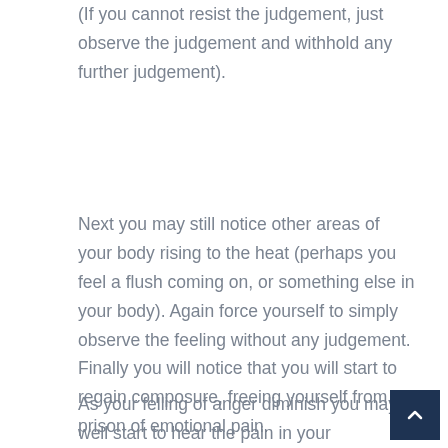(If you cannot resist the judgement, just observe the judgement and withhold any further judgement).
Next you may still notice other areas of your body rising to the heat (perhaps you feel a flush coming on, or something else in your body). Again force yourself to simply observe the feeling without any judgement. Finally you will notice that you will start to regain composure, freeing yourself from the prison of emotional pain.
As your felling of anger diminish you may well start to hear the pain in your